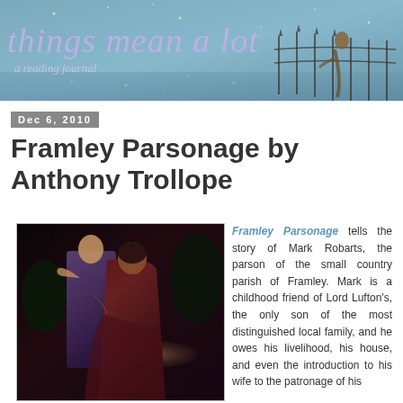[Figure (illustration): Blog banner with teal/blue watercolor background, vintage fairy-tale illustration of figures near a fence on the right side. Text overlay reads 'things mean a lot' and 'a reading journal' in purple/lavender italic font.]
Dec 6, 2010
Framley Parsonage by Anthony Trollope
[Figure (photo): Victorian-era painting showing a man and woman in close conversation. The man is on the left wearing a purple/dark jacket, the woman on the right wearing a dark red/brown dress. Dark dramatic background.]
Framley Parsonage tells the story of Mark Robarts, the parson of the small country parish of Framley. Mark is a childhood friend of Lord Lufton's, the only son of the most distinguished local family, and he owes his livelihood, his house, and even the introduction to his wife to the patronage of his